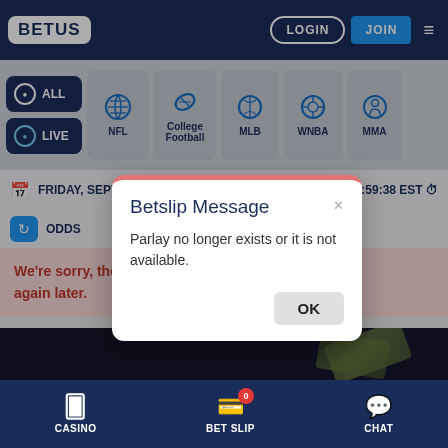[Figure (screenshot): BetUS mobile sportsbook website screenshot showing navigation bar with LOGIN and JOIN buttons, sports category tabs (ALL, LIVE, NFL, College Football, MLB, WNBA, MMA), a date/time bar showing FRIDAY, SEPT and 18:59:38 EST, an ODDS section, a red error banner saying We're sorry, the... Please try again later., a dark promotional banner area, and a bottom navigation bar with CASINO, BET SLIP (with badge 0), and CHAT. A modal dialog titled Betslip Message with text Parlay no longer exists or it is not available. and an OK button is displayed on top.]